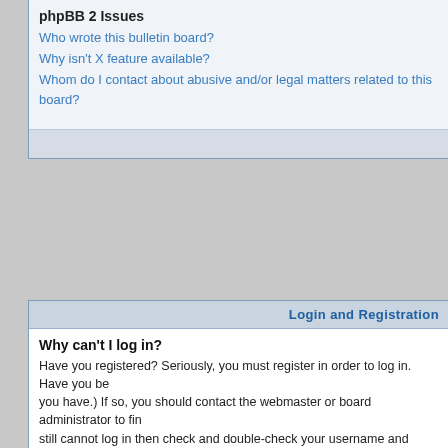phpBB 2 Issues
Who wrote this bulletin board?
Why isn't X feature available?
Whom do I contact about abusive and/or legal matters related to this board?
Login and Registration
Why can't I log in?
Have you registered? Seriously, you must register in order to log in. Have you been banned from the board? (A message will be displayed if you have.) If so, you should contact the webmaster or board administrator to find out why. If you have registered and are not banned and you still cannot log in then check and double-check your username and password. Usually this is the problem; if not, contact the board administrator -- they may have incorrect configuration settings for the board.
Back to top
Why do I need to register at all?
You may not have to -- it is up to the administrator of the board as to whether you need to register in order to post messages. However, registration will give you access to additional features not available to guest users such as definable avatar images, private messaging, emailing to fellow users, usergroup subscription, etc. It only takes a few minutes to register so it is recommended you do so.
Back to top
Why do I get logged off automatically?
If you do not check the Log me in automatically box when you log in, the board will only keep you logged in for a preset time. This prevents misuse of your account by anyone else. To stay logged in, check the box during login. This is not recommended if you access the board from a shared computer, e.g. library, internet cafe, university cluster, etc.